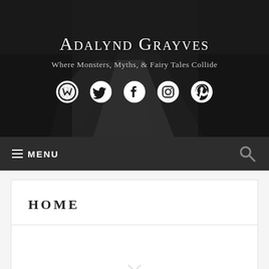Adalynd Grayves
Where Monsters, Myths, & Fairy Tales Collide
[Figure (illustration): Five social media icons: WordPress, Twitter, Facebook, Instagram, Pinterest — white circular icons on dark background]
MENU
HOME